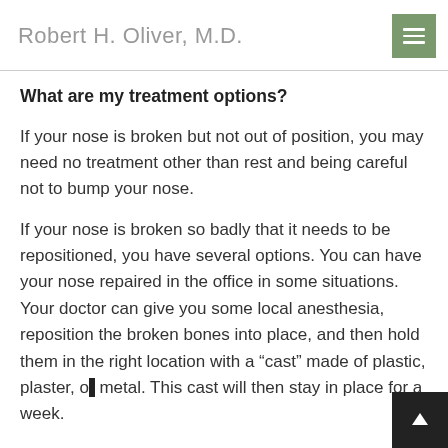Robert H. Oliver, M.D.
What are my treatment options?
If your nose is broken but not out of position, you may need no treatment other than rest and being careful not to bump your nose.
If your nose is broken so badly that it needs to be repositioned, you have several options. You can have your nose repaired in the office in some situations. Your doctor can give you some local anesthesia, reposition the broken bones into place, and then hold them in the right location with a “cast” made of plastic, plaster, or metal. This cast will then stay in place for a week.